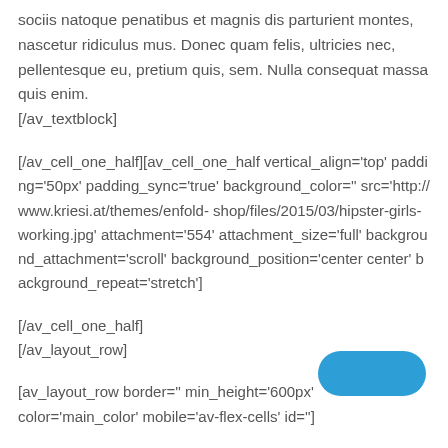sociis natoque penatibus et magnis dis parturient montes, nascetur ridiculus mus. Donec quam felis, ultricies nec, pellentesque eu, pretium quis, sem. Nulla consequat massa quis enim.
[/av_textblock]
[/av_cell_one_half][av_cell_one_half vertical_align='top' padding='50px' padding_sync='true' background_color='' src='http://www.kriesi.at/themes/enfold-shop/files/2015/03/hipster-girls-working.jpg' attachment='554' attachment_size='full' background_attachment='scroll' background_position='center center' background_repeat='stretch']
[/av_cell_one_half]
[/av_layout_row]
[av_layout_row border='' min_height='600px' color='main_color' mobile='av-flex-cells' id='']